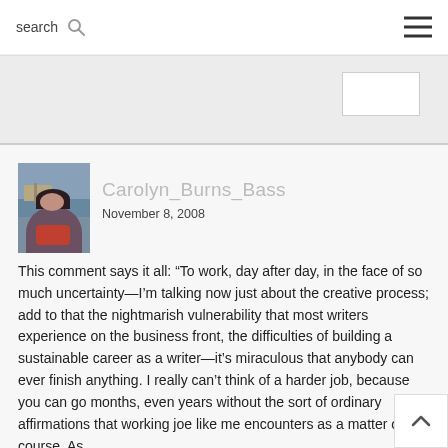search  ☰
[Figure (photo): Profile photo of Carolyn Burns Bass, a woman with dark hair near a waterfront with boats]
Carolyn_Burns_Bass
November 8, 2008
This comment says it all: "To work, day after day, in the face of so much uncertainty—I'm talking now just about the creative process; add to that the nightmarish vulnerability that most writers experience on the business front, the difficulties of building a sustainable career as a writer—it's miraculous that anybody can ever finish anything. I really can't think of a harder job, because you can go months, even years without the sort of ordinary affirmations that working joe like me encounters as a matter of course. As